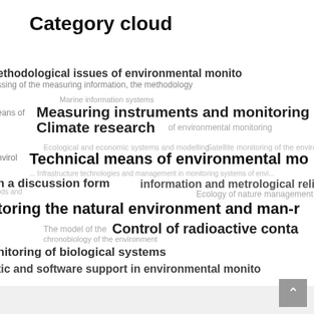Category cloud
[Figure (infographic): A tag/category cloud showing various environmental monitoring topics at different font sizes and weights, overlapping in a word cloud layout. Topics include: methodological issues of environmental monitoring, ssing of the measuring information the methodology, Marine information systems, Measuring instruments and monitoring, means of instruments and monitoring, Climate research, of environmental monitoring, Ecological and economic systems and modelling, Satellite monitoring of the enviro, Environmental means of environmental mo, Infrastructure technologies and management in monitoring systems of envi, n a discussion form, Information and metrological reliability of e, Ecology of nature management, toring the natural environment and man-r, Control of radioactive conta, The model of the chronobiology of the environment, nitoring of biological systems, tic and software support in environmental monito]